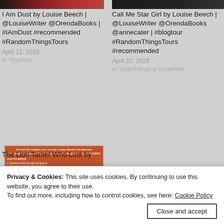[Figure (photo): Top portion of a book cover image on the left - dark reddish tones]
[Figure (photo): Top portion of a book cover image on the right - dark tones]
I Am Dust by Louise Beech | @LouiseWriter @OrendaBooks | #IAmDust #recommended #RandomThingsTours
April 12, 2020
In “mystery”
Call Me Star Girl by Louise Beech | @LouiseWriter @OrendaBooks @annecater | #blogtour #RandomThingsTours #recommended
April 22, 2019
In “psychological suspense”
[Figure (photo): Book cover for The Lion Tamer Who Lost - orange/red background with text]
The Lion Tamer Who Lost by
Privacy & Cookies: This site uses cookies. By continuing to use this website, you agree to their use.
To find out more, including how to control cookies, see here: Cookie Policy
Close and accept